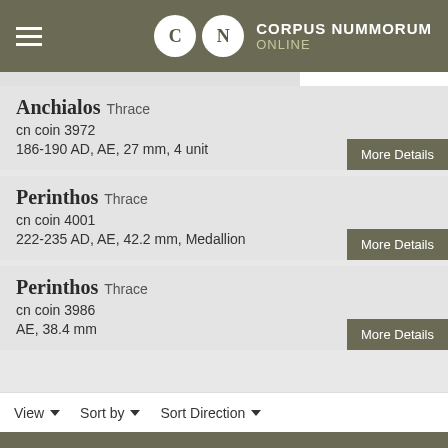CORPUS NUMMORUM ONLINE
Anchialos Thrace
cn coin 3972
186-190 AD, AE, 27 mm, 4 unit
Perinthos Thrace
cn coin 4001
222-235 AD, AE, 42.2 mm, Medallion
Perinthos Thrace
cn coin 3986
AE, 38.4 mm
View  Sort by  Sort Direction